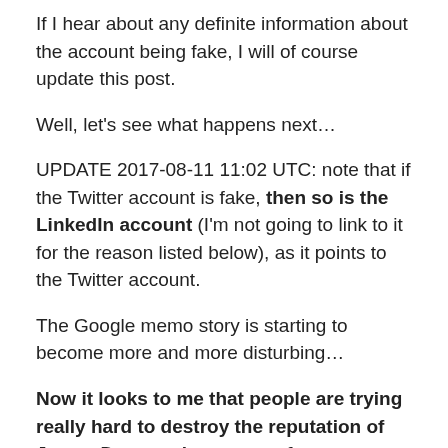If I hear about any definite information about the account being fake, I will of course update this post.
Well, let's see what happens next…
UPDATE 2017-08-11 11:02 UTC: note that if the Twitter account is fake, then so is the LinkedIn account (I'm not going to link to it for the reason listed below), as it points to the Twitter account.
The Google memo story is starting to become more and more disturbing…
Now it looks to me that people are trying really hard to destroy the reputation of James Damore, by means of impersonation. If this is true, this is really perverse.
And just wait until the media reports on this… They have